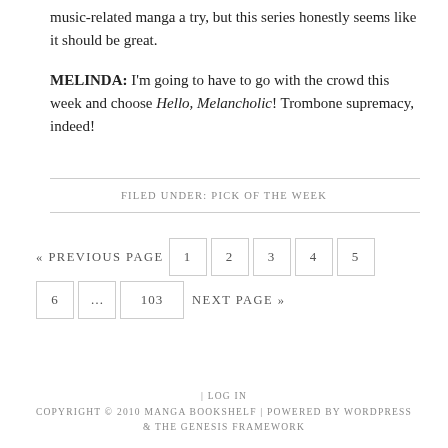music-related manga a try, but this series honestly seems like it should be great.
MELINDA: I'm going to have to go with the crowd this week and choose Hello, Melancholic! Trombone supremacy, indeed!
FILED UNDER: PICK OF THE WEEK
« PREVIOUS PAGE  1  2  3  4  5  6  …  103  NEXT PAGE »
| LOG IN
COPYRIGHT © 2010 MANGA BOOKSHELF | POWERED BY WORDPRESS & THE GENESIS FRAMEWORK